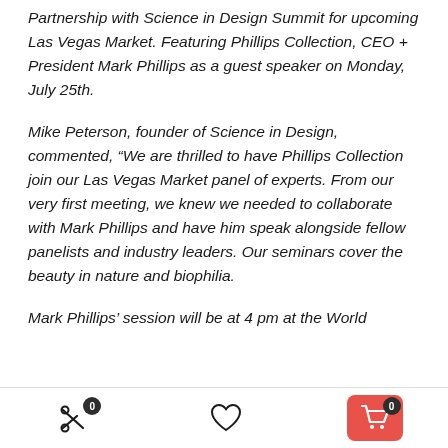Partnership with Science in Design Summit for upcoming Las Vegas Market. Featuring Phillips Collection, CEO + President Mark Phillips as a guest speaker on Monday, July 25th.
Mike Peterson, founder of Science in Design, commented, “We are thrilled to have Phillips Collection join our Las Vegas Market panel of experts. From our very first meeting, we knew we needed to collaborate with Mark Phillips and have him speak alongside fellow panelists and industry leaders. Our seminars cover the beauty in nature and biophilia.
Mark Phillips’ session will be at 4 pm at the World